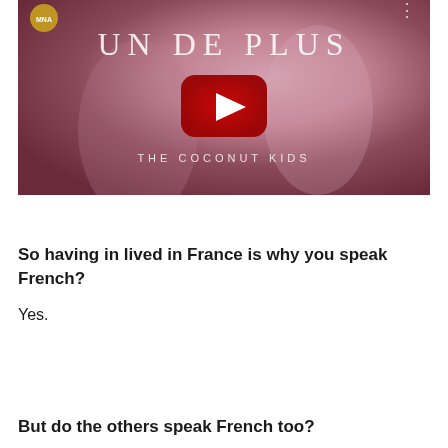[Figure (screenshot): YouTube video thumbnail showing two young women in pink/purple tones. The video title reads 'UN DE PLUS' in large serif letters and 'THE COCONUT KIDS' below. A red YouTube play button is centered on the image. A small circular logo/watermark appears in the top left corner.]
So having in lived in France is why you speak French?
Yes.
But do the others speak French too?